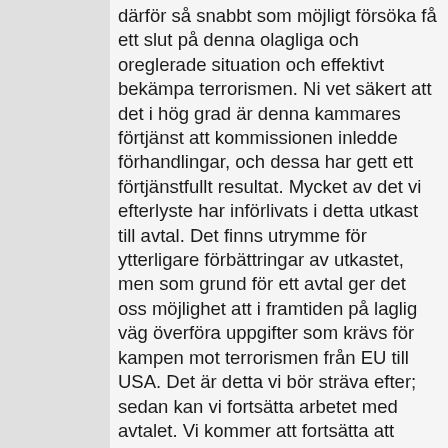därför så snabbt som möjligt försöka få ett slut på denna olagliga och oreglerade situation och effektivt bekämpa terrorismen. Ni vet säkert att det i hög grad är denna kammares förtjänst att kommissionen inledde förhandlingar, och dessa har gett ett förtjänstfullt resultat. Mycket av det vi efterlyste har införlivats i detta utkast till avtal. Det finns utrymme för ytterligare förbättringar av utkastet, men som grund för ett avtal ger det oss möjlighet att i framtiden på laglig väg överföra uppgifter som krävs för kampen mot terrorismen från EU till USA. Det är detta vi bör sträva efter; sedan kan vi fortsätta arbetet med avtalet. Vi kommer att fortsätta att övervaka framstegen och kan alltid vända oss till EG-domstolen vid avtalsbrott, men vi måste sträva efter att snarast nå en överenskommelse, inrätta en